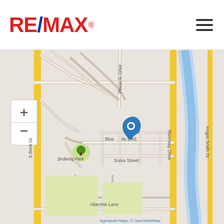[Figure (logo): RE/MAX logo in red and blue]
[Figure (map): OpenStreetMap showing streets including Pinnacle Drive, Blue Castle Blvd, Sonia Street, Allambie Lane, S Beck Dr, Riverway Drive, Angus Smith Dr. Birdwing Park shown with tree icon. Blue location pin marker placed on Blue Castle Blvd. Map controls show + and - zoom buttons. Blue river/waterway visible on right side. Map attribution: Agentpoint Maps, © OpenStreetMap]
Agentpoint Maps, © OpenStreetMap